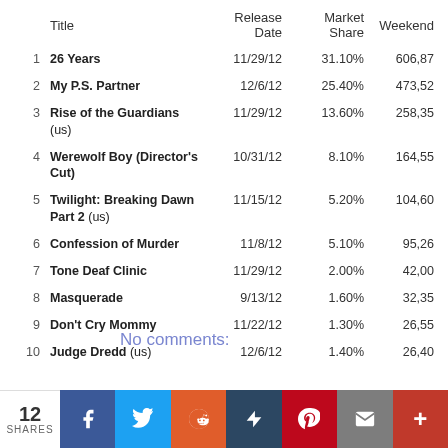|  | Title | Release Date | Market Share | Weekend |
| --- | --- | --- | --- | --- |
| 1 | 26 Years | 11/29/12 | 31.10% | 606,87… |
| 2 | My P.S. Partner | 12/6/12 | 25.40% | 473,52… |
| 3 | Rise of the Guardians (us) | 11/29/12 | 13.60% | 258,35… |
| 4 | Werewolf Boy (Director's Cut) | 10/31/12 | 8.10% | 164,55… |
| 5 | Twilight: Breaking Dawn Part 2 (us) | 11/15/12 | 5.20% | 104,60… |
| 6 | Confession of Murder | 11/8/12 | 5.10% | 95,26… |
| 7 | Tone Deaf Clinic | 11/29/12 | 2.00% | 42,00… |
| 8 | Masquerade | 9/13/12 | 1.60% | 32,35… |
| 9 | Don't Cry Mommy | 11/22/12 | 1.30% | 26,55… |
| 10 | Judge Dredd (us) | 12/6/12 | 1.40% | 26,40… |
No comments:
Share
FRIDAY, DECEMBER 7, 2012